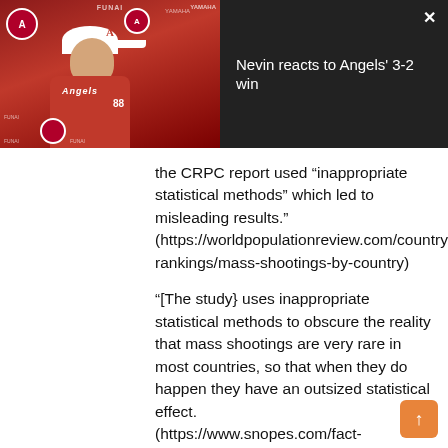[Figure (screenshot): Video thumbnail showing an Angels baseball manager/coach in red jersey and white Angels cap at a press conference, with sponsor banners visible in background. Video title reads 'Nevin reacts to Angels' 3-2 win' on dark background.]
the CRPC report used “inappropriate statistical methods” which led to misleading results." (https://worldpopulationreview.com/country-rankings/mass-shootings-by-country)
"[The study} uses inappropriate statistical methods to obscure the reality that mass shootings are very rare in most countries, so that when they do happen they have an outsized statistical effect. (https://www.snopes.com/fact-check/united-states-lower-death-shootings/)